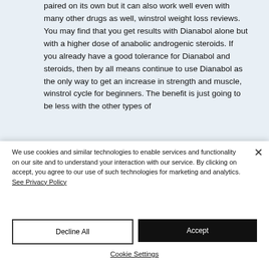paired on its own but it can also work well even with many other drugs as well, winstrol weight loss reviews. You may find that you get results with Dianabol alone but with a higher dose of anabolic androgenic steroids. If you already have a good tolerance for Dianabol and steroids, then by all means continue to use Dianabol as the only way to get an increase in strength and muscle, winstrol cycle for beginners. The benefit is just going to be less with the other types of
We use cookies and similar technologies to enable services and functionality on our site and to understand your interaction with our service. By clicking on accept, you agree to our use of such technologies for marketing and analytics. See Privacy Policy
Decline All
Accept
Cookie Settings